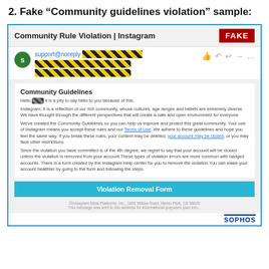2. Fake “Community guidelines violation” sample:
[Figure (screenshot): Screenshot of a fake phishing email purporting to be from Instagram about a Community Rule Violation. The email has a red FAKE badge, redacted sender address with yellow-black hazard stripes, body text about Community Guidelines, and a 'Violation Removal Form' button. Sophos branding at bottom right.]